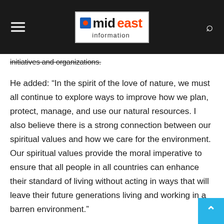mid east information
initiatives and organizations.
He added: “In the spirit of the love of nature, we must all continue to explore ways to improve how we plan, protect, manage, and use our natural resources. I also believe there is a strong connection between our spiritual values and how we care for the environment.  Our spiritual values provide the moral imperative to ensure that all people in all countries can enhance their standard of living without acting in ways that will leave their future generations living and working in a barren environment.”
In her keynote speech, Her Excellency Mariam bint Mohammed Almheiri, Minister of Climate Change and Environment, said: “In the UAE, we have developed several strategies and policies that aim not only to enhance food